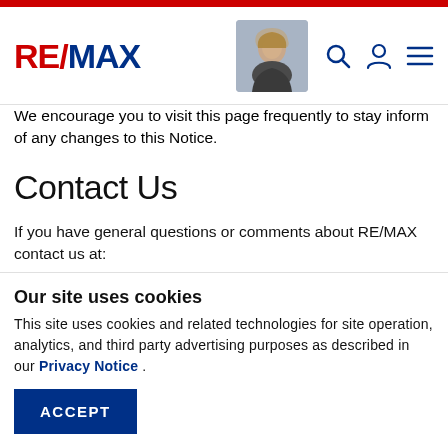RE/MAX
We encourage you to visit this page frequently to stay inform of any changes to this Notice.
Contact Us
If you have general questions or comments about RE/MAX contact us at:
By email:    productsupport@remax.com
Our site uses cookies
This site uses cookies and related technologies for site operation, analytics, and third party advertising purposes as described in our Privacy Notice .
ACCEPT